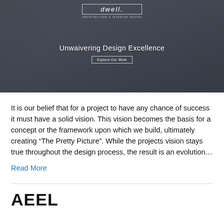[Figure (screenshot): Website hero banner for 'dwell.' design studio showing a dark interior room image with the tagline 'Unwaivering Design Excellence' and an 'Explore Our Work' button.]
It is our belief that for a project to have any chance of success it must have a solid vision. This vision becomes the basis for a concept or the framework upon which we build, ultimately creating “The Pretty Picture”. While the projects vision stays true throughout the design process, the result is an evolution…
Read More
AEEL